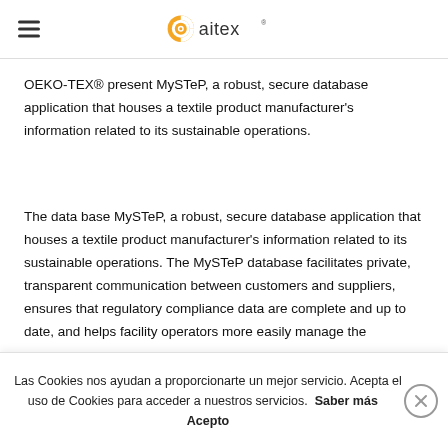aitex (logo)
OEKO-TEX® present MySTeP, a robust, secure database application that houses a textile product manufacturer's information related to its sustainable operations.
The data base MySTeP, a robust, secure database application that houses a textile product manufacturer's information related to its sustainable operations. The MySTeP database facilitates private, transparent communication between customers and suppliers, ensures that regulatory compliance data are complete and up to date, and helps facility operators more easily manage the
Las Cookies nos ayudan a proporcionarte un mejor servicio. Acepta el uso de Cookies para acceder a nuestros servicios. Saber más   Acepto